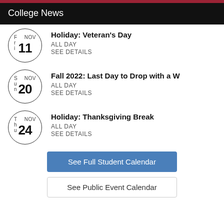College News
Holiday: Veteran's Day | ALL DAY | SEE DETAILS | Fri Nov 11
Fall 2022: Last Day to Drop with a W | ALL DAY | SEE DETAILS | Sun Nov 20
Holiday: Thanksgiving Break | ALL DAY | SEE DETAILS | Thu Nov 24
See Full Student Calendar
See Public Event Calendar